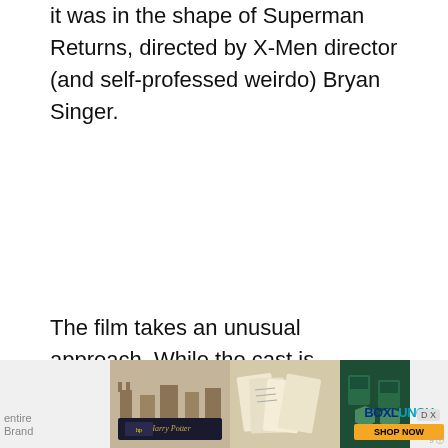it was in the shape of Superman Returns, directed by X-Men director (and self-professed weirdo) Bryan Singer.
The film takes an unusual approach. While the cast is
[Figure (other): Advertisement banner from BoxLunch featuring Harry Potter merchandise, including castle figurines, cards, and green-themed items. BoxLunch logo with 'SHOP NOW' button visible on right side.]